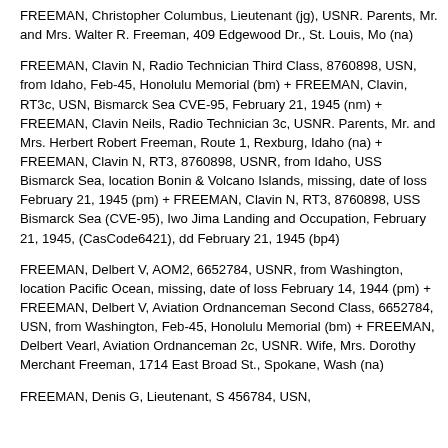FREEMAN, Christopher Columbus, Lieutenant (jg), USNR. Parents, Mr. and Mrs. Walter R. Freeman, 409 Edgewood Dr., St. Louis, Mo (na)
FREEMAN, Clavin N, Radio Technician Third Class, 8760898, USN, from Idaho, Feb-45, Honolulu Memorial (bm) + FREEMAN, Clavin, RT3c, USN, Bismarck Sea CVE-95, February 21, 1945 (nm) + FREEMAN, Clavin Neils, Radio Technician 3c, USNR. Parents, Mr. and Mrs. Herbert Robert Freeman, Route 1, Rexburg, Idaho (na) + FREEMAN, Clavin N, RT3, 8760898, USNR, from Idaho, USS Bismarck Sea, location Bonin & Volcano Islands, missing, date of loss February 21, 1945 (pm) + FREEMAN, Clavin N, RT3, 8760898, USS Bismarck Sea (CVE-95), Iwo Jima Landing and Occupation, February 21, 1945, (CasCode6421), dd February 21, 1945 (bp4)
FREEMAN, Delbert V, AOM2, 6652784, USNR, from Washington, location Pacific Ocean, missing, date of loss February 14, 1944 (pm) + FREEMAN, Delbert V, Aviation Ordnanceman Second Class, 6652784, USN, from Washington, Feb-45, Honolulu Memorial (bm) + FREEMAN, Delbert Vearl, Aviation Ordnanceman 2c, USNR. Wife, Mrs. Dorothy Merchant Freeman, 1714 East Broad St., Spokane, Wash (na)
FREEMAN, Denis G, Lieutenant, S 456784, USN,